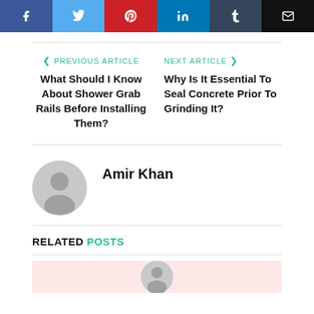[Figure (other): Social share buttons: Facebook, Twitter, Pinterest, LinkedIn, Tumblr, Email]
< PREVIOUS ARTICLE
What Should I Know About Shower Grab Rails Before Installing Them?
NEXT ARTICLE >
Why Is It Essential To Seal Concrete Prior To Grinding It?
Amir Khan
RELATED POSTS